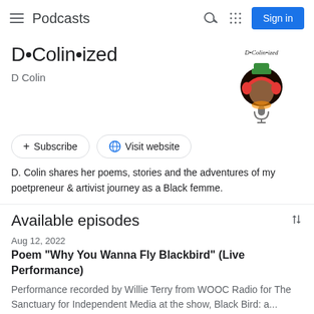Podcasts
D•Colin•ized
D Colin
[Figure (logo): D•Colin•ized podcast logo featuring a Black woman with curly hair wearing red headphones, holding a microphone, with text 'D•Colin•ized' above]
+ Subscribe   🌐 Visit website
D. Colin shares her poems, stories and the adventures of my poetpreneur & artivist journey as a Black femme.
Available episodes
Aug 12, 2022
Poem "Why You Wanna Fly Blackbird" (Live Performance)
Performance recorded by Willie Terry from WOOC Radio for The Sanctuary for Independent Media at the show, Black Bird: a...
17 min